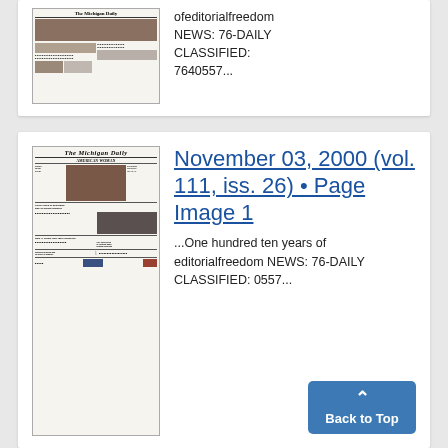[Figure (photo): Thumbnail of a newspaper front page (partial, top card)]
ofeditorialfreedom NEWS: 76-DAILY CLASSIFIED: 7640557...
[Figure (photo): Thumbnail of The Michigan Daily newspaper front page, November 03, 2000, vol. 111, iss. 26. Headlines include American Woman, Clinics to determine size of Senate majority, New AI voters may face confusion, City successful in curbing gang related activities.]
November 03, 2000 (vol. 111, iss. 26) • Page Image 1
...One hundred ten years of editorialfreedom NEWS: 76-DAILY CLASSIFIED: 0557...